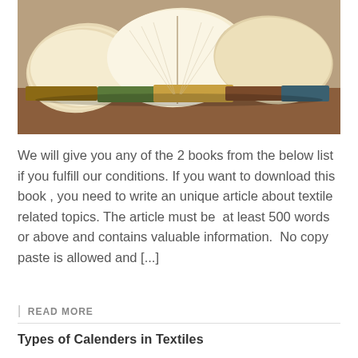[Figure (photo): Photograph of several open books stacked on a wooden surface, pages fanned upward]
We will give you any of the 2 books from the below list if you fulfill our conditions. If you want to download this book , you need to write an unique article about textile related topics. The article must be  at least 500 words or above and contains valuable information.  No copy paste is allowed and [...]
| READ MORE
Types of Calenders in Textiles